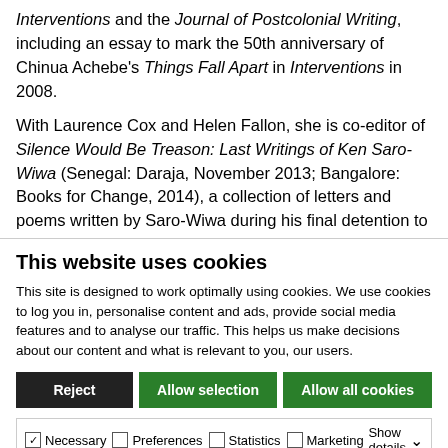Interventions and the Journal of Postcolonial Writing, including an essay to mark the 50th anniversary of Chinua Achebe's Things Fall Apart in Interventions in 2008.

With Laurence Cox and Helen Fallon, she is co-editor of Silence Would Be Treason: Last Writings of Ken Saro-Wiwa (Senegal: Daraja, November 2013; Bangalore: Books for Change, 2014), a collection of letters and poems written by Saro-Wiwa during his final detention to Irish nun and solidarity worker, Sr. Majella McCarron. An expanded digital edition of the text will be made available on open access by
This website uses cookies
This site is designed to work optimally using cookies. We use cookies to log you in, personalise content and ads, provide social media features and to analyse our traffic. This helps us make decisions about our content and what is relevant to you, our users.